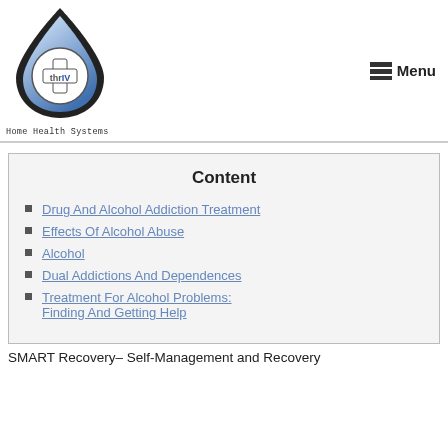[Figure (logo): thrIV Home Health Systems logo - a blue water drop shape containing a white cross/plus symbol with 'thrIV' text inside]
Home Health Systems   Menu
Content
Drug And Alcohol Addiction Treatment
Effects Of Alcohol Abuse
Alcohol
Dual Addictions And Dependences
Treatment For Alcohol Problems: Finding And Getting Help
SMART Recovery– Self-Management and Recovery